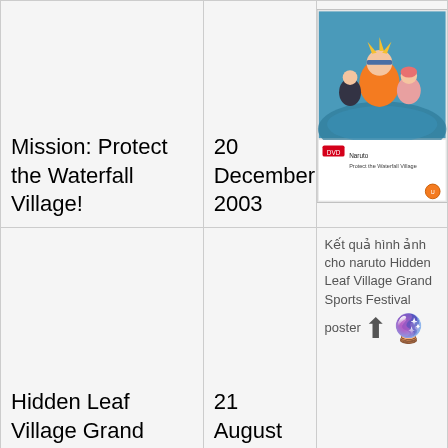| Title | Date | Image |
| --- | --- | --- |
| Mission: Protect the Waterfall Village! | 20 December 2003 | [DVD cover image] |
| Hidden Leaf Village Grand Sports Festival! | 21 August 2004 | Kết quả hình ảnh cho naruto Hidden Leaf Village Grand Sports Festival poster |